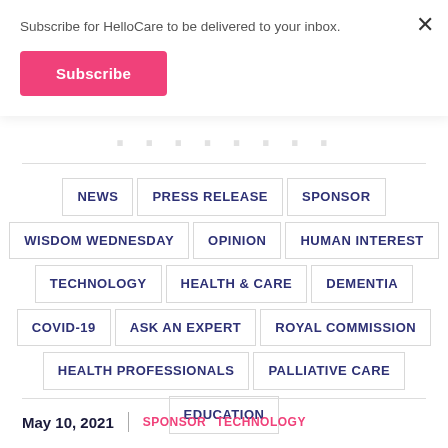Subscribe for HelloCare to be delivered to your inbox.
Subscribe
NEWS
PRESS RELEASE
SPONSOR
WISDOM WEDNESDAY
OPINION
HUMAN INTEREST
TECHNOLOGY
HEALTH & CARE
DEMENTIA
COVID-19
ASK AN EXPERT
ROYAL COMMISSION
HEALTH PROFESSIONALS
PALLIATIVE CARE
EDUCATION
May 10, 2021  |  SPONSOR  TECHNOLOGY